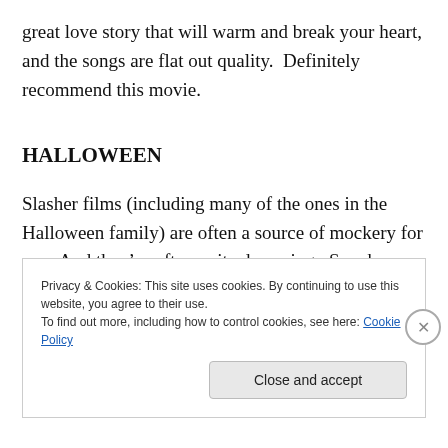great love story that will warm and break your heart, and the songs are flat out quality.  Definitely recommend this movie.
HALLOWEEN
Slasher films (including many of the ones in the Halloween family) are often a source of mockery for me.  And they’re often quite deserving.  So when this year’s Halloween movie came out and decided to wipe away the other
Privacy & Cookies: This site uses cookies. By continuing to use this website, you agree to their use.
To find out more, including how to control cookies, see here: Cookie Policy
Close and accept